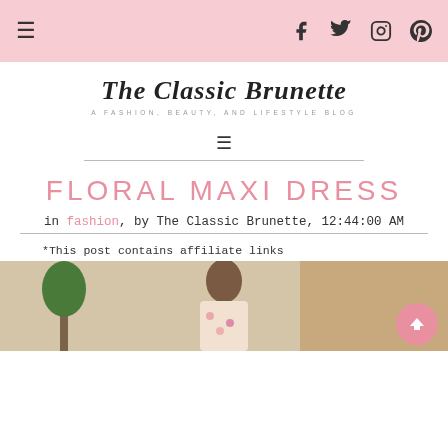☰  [hamburger] | [facebook] [twitter] [instagram] [pinterest]
[Figure (logo): The Classic Brunette — A Fashion, Beauty, and Lifestyle Blog script logo]
[Figure (other): Hamburger menu icon with horizontal rule below]
FLORAL MAXI DRESS
in fashion, by The Classic Brunette, 12:44:00 AM
*This post contains affiliate links
[Figure (photo): Photo of woman in floral maxi dress outdoors near brick wall]